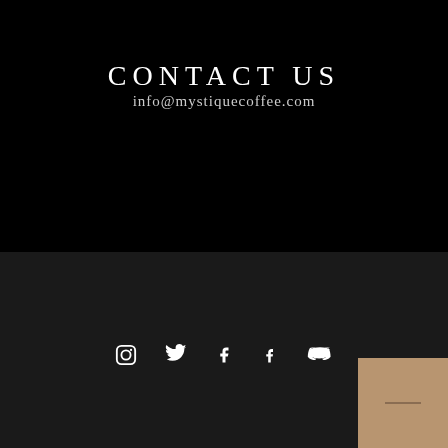CONTACT US
info@mystiquecoffee.com
[Figure (infographic): Row of five social media icons: Instagram, Twitter, Facebook, Tumblr, Vimeo — white on dark background]
[Figure (other): Small tan/beige square button with a horizontal bar/minus icon in the bottom-right corner]